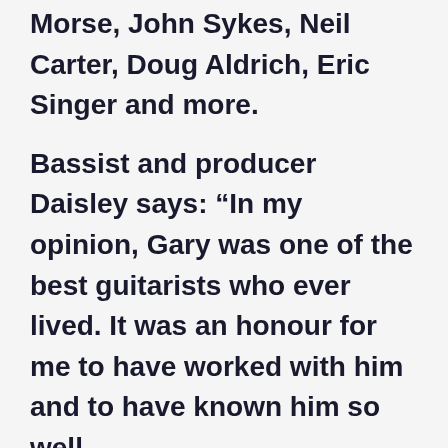Morse, John Sykes, Neil Carter, Doug Aldrich, Eric Singer and more.
Bassist and producer Daisley says: “In my opinion, Gary was one of the best guitarists who ever lived. It was an honour for me to have worked with him and to have known him so well.
“When Gary passed away in 2011, the world lost one of the all-time greats. I don’t think that enough was said or done at the time to acknowledge the loss of